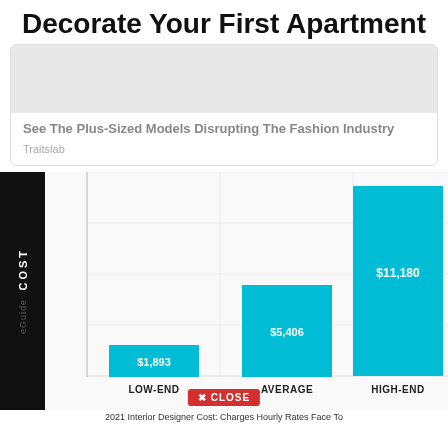Decorate Your First Apartment
[Figure (other): Ad card with gray image placeholder and headline about plus-sized models disrupting the fashion industry, source: Traitslab]
[Figure (bar-chart): COST]
2021 Interior Designer Cost: Charges Hourly Rates Face To